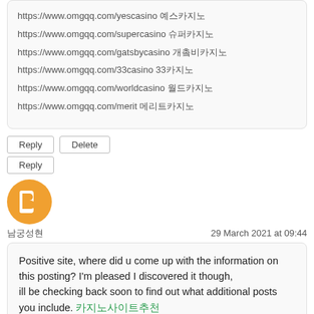https://www.omgqq.com/yescasino 예스카지노
https://www.omgqq.com/supercasino 슈퍼카지노
https://www.omgqq.com/gatsbycasino 개츠비카지노
https://www.omgqq.com/33casino 33카지노
https://www.omgqq.com/worldcasino 월드카지노
https://www.omgqq.com/merit 메리트카지노
Reply   Delete
Reply
[Figure (illustration): Blogger user avatar - orange circle with white B letter logo]
남궁성현
29 March 2021 at 09:44
Positive site, where did u come up with the information on this posting? I'm pleased I discovered it though,
ill be checking back soon to find out what additional posts you include. 카지노사이트추천